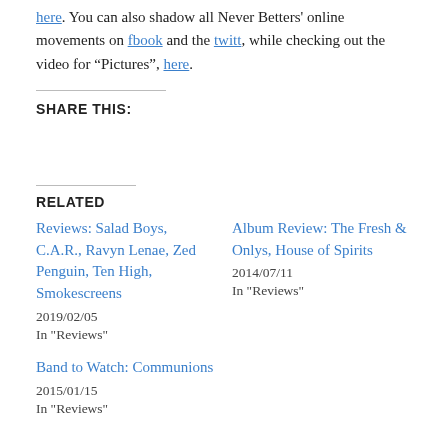here. You can also shadow all Never Betters' online movements on fbook and the twitt, while checking out the video for “Pictures”, here.
SHARE THIS:
RELATED
Reviews: Salad Boys, C.A.R., Ravyn Lenae, Zed Penguin, Ten High, Smokescreens
2019/02/05
In "Reviews"
Album Review: The Fresh & Onlys, House of Spirits
2014/07/11
In "Reviews"
Band to Watch: Communions
2015/01/15
In "Reviews"